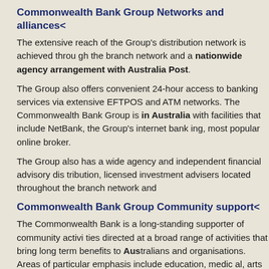Commonwealth Bank Group Networks and alliances<
The extensive reach of the Group's distribution network is achieved through the branch network and a nationwide agency arrangement with Australia Post.
The Group also offers convenient 24-hour access to banking services via extensive EFTPOS and ATM networks. The Commonwealth Bank Group is in Australia with facilities that include NetBank, the Group's internet banking, most popular online broker.
The Group also has a wide agency and independent financial advisory distribution, licensed investment advisers located throughout the branch network and
Commonwealth Bank Group Community support<
The Commonwealth Bank is a long-standing supporter of community activities directed at a broad range of activities that bring long term benefits to Australians and organisations. Areas of particular emphasis include education, medical, arts and the environment.
In the area of education, we aim to develop financial literacy, especially for look to support educational programs which provide professional and c
The Commonwealth Bank Foundation encourages developments in education and financial literacy skills for young Australians.
Commonwealth Bank Group Structure<
The Commonwealth Bank has five customer-facing business divisions